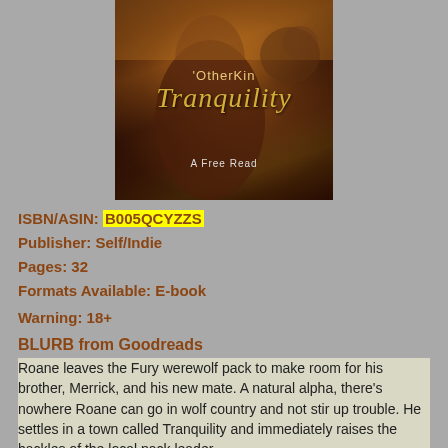[Figure (illustration): Book cover for OtherKin Tranquility – A Free Read, showing a dark romantic scene with a shirtless figure and warm autumnal forest tones, with gold italic title text.]
ISBN/ASIN: B005QCYZZS
Publisher: Self/Indie
Pages: 32
Formats Available: E-book
Warning: 18+
BLURB from Goodreads
Roane leaves the Fury werewolf pack to make room for his brother, Merrick, and his new mate. A natural alpha, there's nowhere Roane can go in wolf country and not stir up trouble. He settles in a town called Tranquility and immediately raises the hackles of the local pack leader.